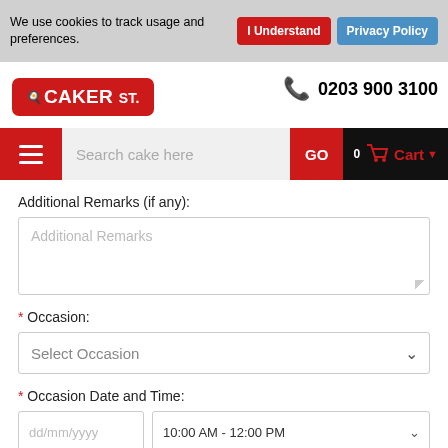We use cookies to track usage and preferences.
I Understand
Privacy Policy
[Figure (logo): Caker St. logo — white chef hat icon and text on red rounded rectangle background]
0203 900 3100
Search cake here
GO
0 Cart
Additional Remarks (if any):
Additional Remarks
* Occasion:
Select Occasion
* Occasion Date and Time:
dd/mm/yyyy
10:00 AM - 12:00 PM
* PostCode:
E.G. TW5 0RW